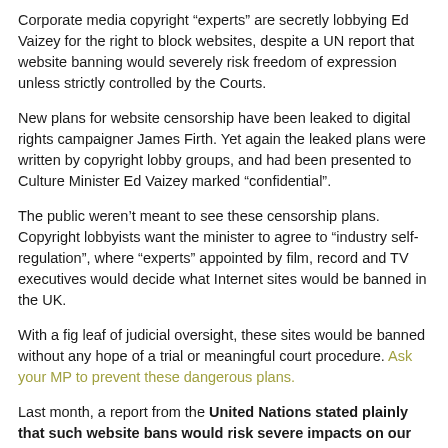Corporate media copyright “experts” are secretly lobbying Ed Vaizey for the right to block websites, despite a UN report that website banning would severely risk freedom of expression unless strictly controlled by the Courts.
New plans for website censorship have been leaked to digital rights campaigner James Firth. Yet again the leaked plans were written by copyright lobby groups, and had been presented to Culture Minister Ed Vaizey marked “confidential”.
The public weren’t meant to see these censorship plans. Copyright lobbyists want the minister to agree to “industry self-regulation”, where “experts” appointed by film, record and TV executives would decide what Internet sites would be banned in the UK.
With a fig leaf of judicial oversight, these sites would be banned without any hope of a trial or meaningful court procedure. Ask your MP to prevent these dangerous plans.
Last month, a report from the United Nations stated plainly that such website bans would risk severe impacts on our freedom